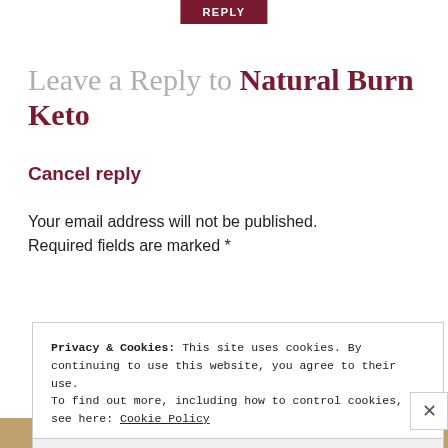REPLY
Leave a Reply to Natural Burn Keto
Cancel reply
Your email address will not be published.
Required fields are marked *
Privacy & Cookies: This site uses cookies. By continuing to use this website, you agree to their use.
To find out more, including how to control cookies, see here: Cookie Policy
Close and accept